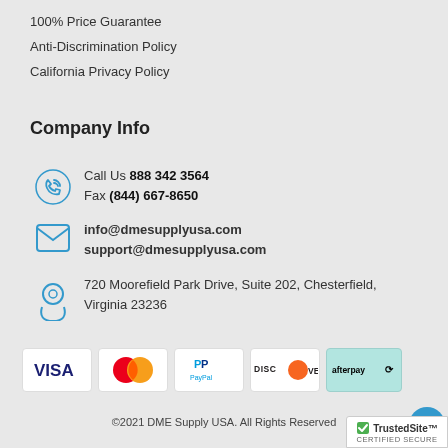100% Price Guarantee
Anti-Discrimination Policy
California Privacy Policy
Company Info
Call Us 888 342 3564
Fax (844) 667-8650
info@dmesupplyusa.com
support@dmesupplyusa.com
720 Moorefield Park Drive, Suite 202, Chesterfield, Virginia 23236
[Figure (logo): Payment method logos: VISA, Mastercard, PayPal, Discover, Afterpay]
©2021 DME Supply USA. All Rights Reserved
[Figure (logo): TrustedSite Certified Secure badge]